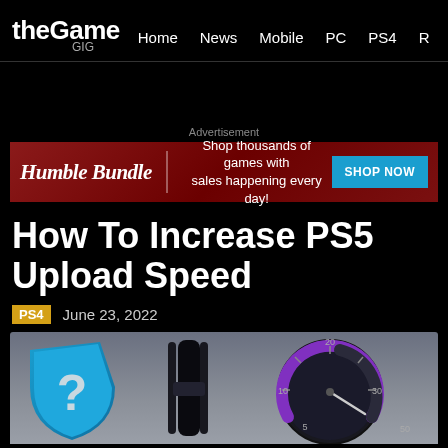theGame GIG | Home | News | Mobile | PC | PS4 | R…
[Figure (screenshot): Humble Bundle advertisement banner: 'Shop thousands of games with sales happening every day!' with SHOP NOW button]
How To Increase PS5 Upload Speed
PS4  June 23, 2022
[Figure (illustration): Hero image showing PlayStation icon with question mark, PS5 console, and a speedometer gauge]